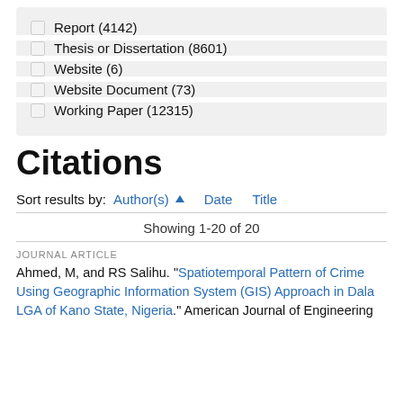Report (4142)
Thesis or Dissertation (8601)
Website (6)
Website Document (73)
Working Paper (12315)
Citations
Sort results by: Author(s) ▲  Date  Title
Showing 1-20 of 20
JOURNAL ARTICLE
Ahmed, M, and RS Salihu. "Spatiotemporal Pattern of Crime Using Geographic Information System (GIS) Approach in Dala LGA of Kano State, Nigeria." American Journal of Engineering